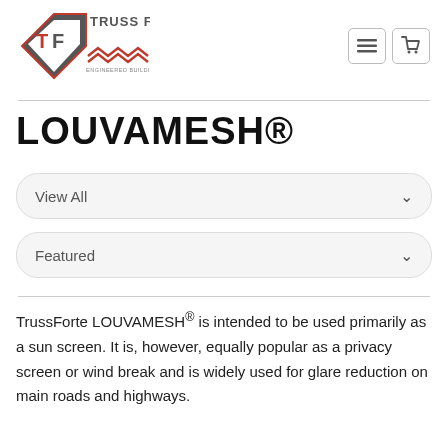[Figure (logo): Truss Forte logo with diamond TF shape and red chevron pattern, text 'ENGINEERED BUILDING PRODUCTS']
LOUVAMESH®
View All
Featured
TrussForte LOUVAMESH® is intended to be used primarily as a sun screen. It is, however, equally popular as a privacy screen or wind break and is widely used for glare reduction on main roads and highways.